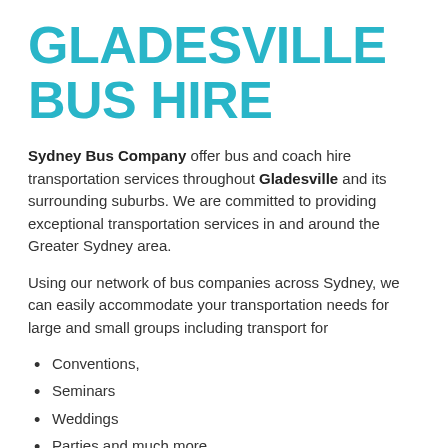GLADESVILLE BUS HIRE
Sydney Bus Company offer bus and coach hire transportation services throughout Gladesville and its surrounding suburbs. We are committed to providing exceptional transportation services in and around the Greater Sydney area.
Using our network of bus companies across Sydney, we can easily accommodate your transportation needs for large and small groups including transport for
Conventions,
Seminars
Weddings
Parties and much more.